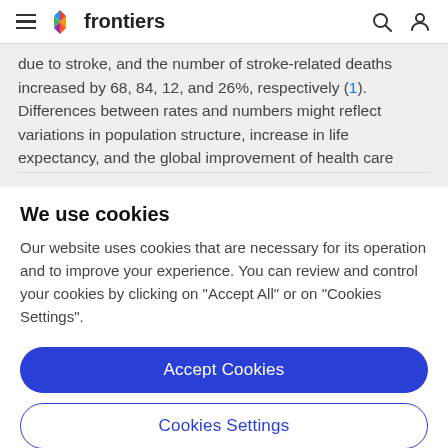frontiers
due to stroke, and the number of stroke-related deaths increased by 68, 84, 12, and 26%, respectively (1). Differences between rates and numbers might reflect variations in population structure, increase in life expectancy, and the global improvement of health care
We use cookies
Our website uses cookies that are necessary for its operation and to improve your experience. You can review and control your cookies by clicking on "Accept All" or on "Cookies Settings".
Accept Cookies
Cookies Settings